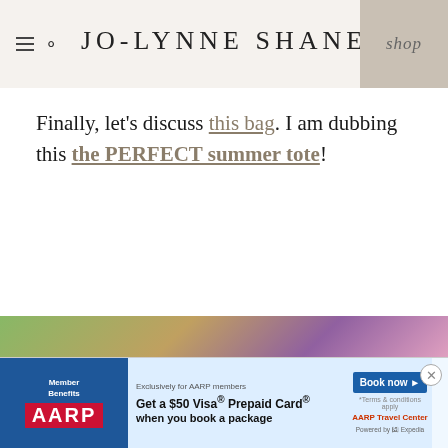JO-LYNNE SHANE — shop
Finally, let's discuss this bag. I am dubbing this the PERFECT summer tote!
[Figure (photo): Bottom portion of a photo showing colorful summer scene, partially visible at bottom of page]
[Figure (other): AARP advertisement banner: 'Exclusively for AARP members — Get a $50 Visa Prepaid Card when you book a package — Book now — AARP Travel Center powered by Expedia']